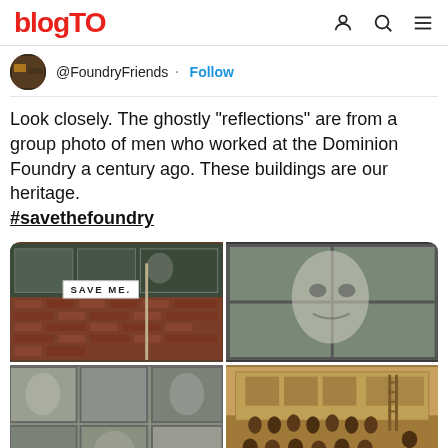blogTO
@FoundryFriends · Follow
Look closely. The ghostly “reflections” are from a group photo of men who worked at the Dominion Foundry a century ago. These buildings are our heritage. #savethefoundry
[Figure (photo): Four-panel photo grid: top-left shows a brick industrial building with 'SAVE ME' sign and ghostly reflections; top-right shows close-up of ghostly face reflection in windows; bottom-left shows ghostly reflections of men in industrial windows; bottom-right shows a sepia historical group photo of men who worked at Dominion Foundry.]